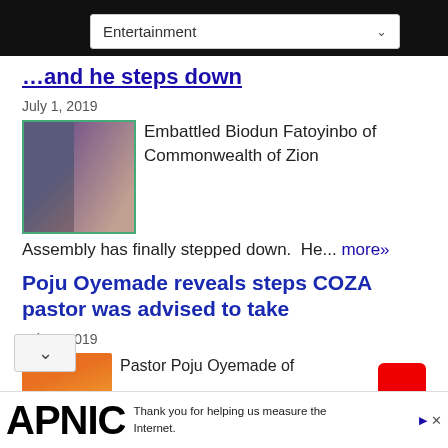Entertainment [dropdown]
...and he steps down
July 1, 2019
[Figure (photo): Two people, a man in glasses and a woman, thumbnail image for article about Biodun Fatoyinbo]
Embattled Biodun Fatoyinbo of Commonwealth of Zion Assembly has finally stepped down. He... more»
Poju Oyemade reveals steps COZA pastor was advised to take
July 1, 2019
[Figure (photo): Orange/red rooftop thumbnail image for article about Pastor Poju Oyemade]
Pastor Poju Oyemade of
APNIC — Thank you for helping us measure the Internet.